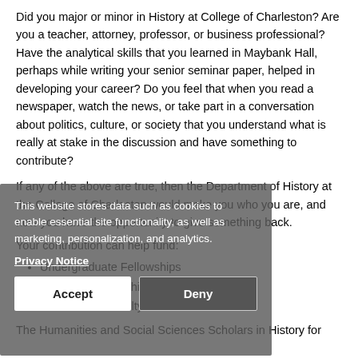Did you major or minor in History at College of Charleston?  Are you a teacher, attorney, professor, or business professional?  Have the analytical skills that you learned in Maybank Hall, perhaps while writing your senior seminar paper, helped in developing your career?  Do you feel that when you read a newspaper, watch the news, or take part in a conversation about politics, culture, or society that you understand what is really at stake in the discussion and have something to contribute?
If any of the above are true, then the Department of History at the College of Charleston would make you who you are, and now you have the opportunity to give something back.
Your contribution can help fund:
Undergraduate Fellowships
Graduate Fellowships
Student and Faculty Research
The Humanities and Social Sciences Scholars in History for
[Figure (screenshot): Cookie consent banner overlay with dark gray background. Text reads: 'This website stores data such as cookies to enable essential site functionality, as well as marketing, personalization, and analytics.' Below is a 'Privacy Notice' link, and two buttons: 'Accept' (white background) and 'Deny' (dark background).]